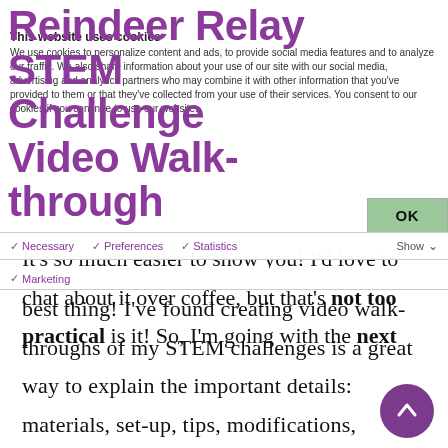Reindeer Relay STEM Challenge Video Walk-through
This website uses cookies
We use cookies to personalize content and ads, to provide social media features and to analyze our traffic. We also share information about your use of our site with our social media, advertising and analytics partners who may combine it with other information that you've provided to them or that they've collected from your use of their services. You consent to our cookies if you continue to use our website.
It's so much easier to show you! I'd love to chat about it over coffee, but that's not too practical is it! So, I'm going with the next best thing! I've found creating video walk-throughs of my STEM challenges is a great way to explain the important details: materials, set-up, tips, modifications, extensions, and more! Check out the video below to learn more about Reindeer Relay. However, if you prefer to read, you'll